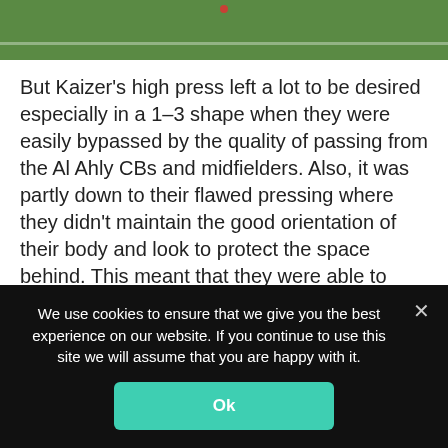[Figure (photo): Top portion of a football/soccer pitch shown from above, green grass with white line, small red player marker visible near top center.]
But Kaizer’s high press left a lot to be desired especially in a 1–3 shape when they were easily bypassed by the quality of passing from the Al Ahly CBs and midfielders. Also, it was partly down to their flawed pressing where they didn’t maintain the good orientation of their body and look to protect the space behind. This meant that they were able to play through the lines and move forward. We can see an example of this in the image below where the Kaizer Chiefs’ winger presses the CB using a curved run to block the
We use cookies to ensure that we give you the best experience on our website. If you continue to use this site we will assume that you are happy with it.
Ok